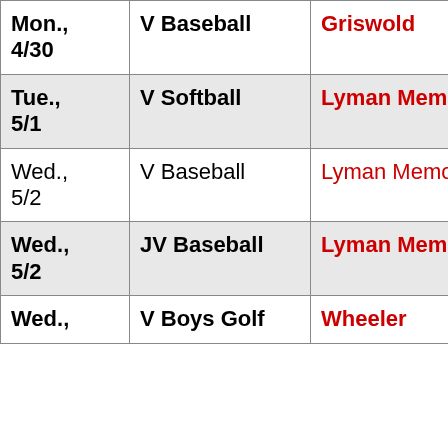| Date | Sport | Opponent |
| --- | --- | --- |
| Mon., 4/30 | V Baseball | Griswold |
| Tue., 5/1 | V Softball | Lyman Memorial |
| Wed., 5/2 | V Baseball | Lyman Memorial |
| Wed., 5/2 | JV Baseball | Lyman Memorial |
| Wed., | V Boys Golf | Wheeler |